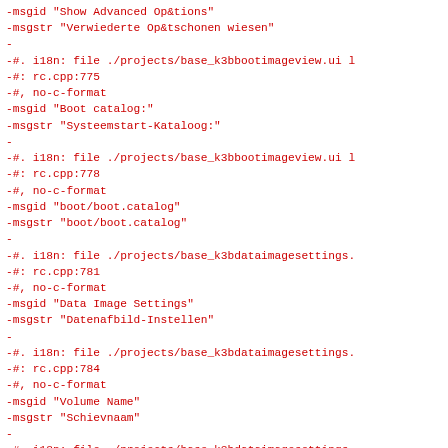-msgid "Show Advanced Op&tions"
-msgstr "Verwiederte Op&tschonen wiesen"
-
-#. i18n: file ./projects/base_k3bbootimageview.ui l
-#: rc.cpp:775
-#, no-c-format
-msgid "Boot catalog:"
-msgstr "Systeemstart-Kataloog:"
-
-#. i18n: file ./projects/base_k3bbootimageview.ui l
-#: rc.cpp:778
-#, no-c-format
-msgid "boot/boot.catalog"
-msgstr "boot/boot.catalog"
-
-#. i18n: file ./projects/base_k3bdataimagesettings.
-#: rc.cpp:781
-#, no-c-format
-msgid "Data Image Settings"
-msgstr "Datenafbild-Instellen"
-
-#. i18n: file ./projects/base_k3bdataimagesettings.
-#: rc.cpp:784
-#, no-c-format
-msgid "Volume Name"
-msgstr "Schievnaam"
-
-#. i18n: file ./projects/base_k3bdataimagesettings.
-#: rc.cpp:787
-#, no-c-format